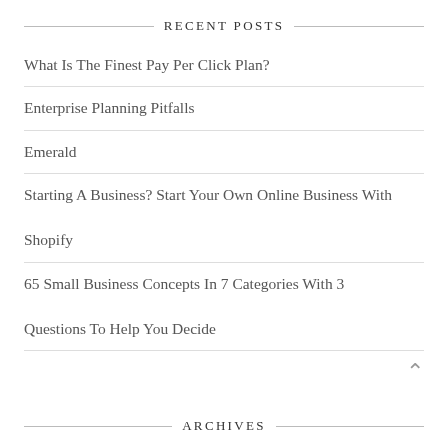RECENT POSTS
What Is The Finest Pay Per Click Plan?
Enterprise Planning Pitfalls
Emerald
Starting A Business? Start Your Own Online Business With Shopify
65 Small Business Concepts In 7 Categories With 3 Questions To Help You Decide
ARCHIVES